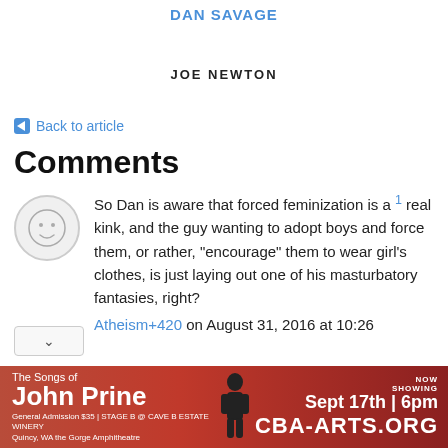DAN SAVAGE
JOE NEWTON
← Back to article
Comments
So Dan is aware that forced feminization is a real kink, and the guy wanting to adopt boys and force them, or rather, "encourage" them to wear girl's clothes, is just laying out one of his masturbatory fantasies, right?
Atheism+420 on August 31, 2016 at 10:26
[Figure (illustration): Advertisement banner for 'The Songs of John Prine' event. Text: The Songs of John Prine. NOW SHOWING Sept 17th | 6pm. General Admission $35 | STAGE B @ CAVE B ESTATE WINERY, Quincy, WA on the Gorge Amphitheatre. CBA-ARTS.ORG. Red background with silhouette figure.]